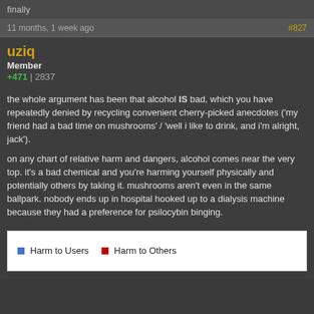finally
11 months, 1 week ago
#827
uziq
Member
+471 | 2837
the whole argument has been that alcohol IS bad, which you have repeatedly denied by recycling convenient cherry-picked anecdotes ('my friend had a bad time on mushrooms' / 'well i like to drink, and i'm alright, jack').
on any chart of relative harm and dangers, alcohol comes near the very top. it's a bad chemical and you're harming yourself physically and potentially others by taking it. mushrooms aren't even in the same ballpark. nobody ends up in hospital hooked up to a dialysis machine because they had a preference for psilocybin binging.
[Figure (other): Legend showing 'Harm to Users' (blue square) and 'Harm to Others' (red square)]